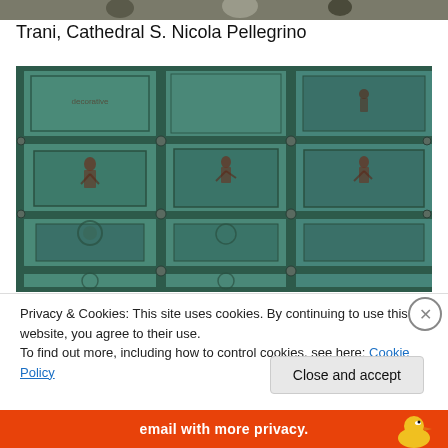[Figure (photo): Top strip of a photograph showing people or statues, partially visible]
Trani, Cathedral S. Nicola Pellegrino
[Figure (photo): Close-up photograph of ornate green bronze cathedral doors with relief carvings of figures, decorative borders, and medallions arranged in panels]
Privacy & Cookies: This site uses cookies. By continuing to use this website, you agree to their use.
To find out more, including how to control cookies, see here: Cookie Policy
Close and accept
email with more privacy.